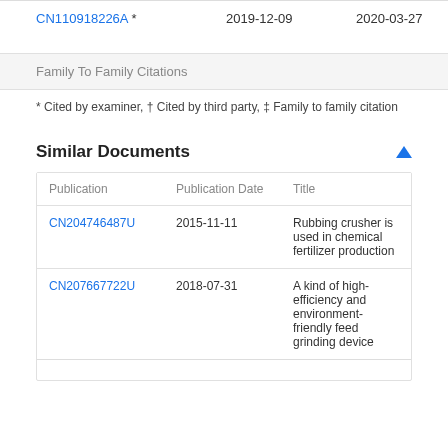| Publication | Publication Date | Publication Date 2 | Assignee |
| --- | --- | --- | --- |
| CN110918226A * | 2019-12-09 | 2020-03-27 | □□□□ □□□□ |
Family To Family Citations
* Cited by examiner, † Cited by third party, ‡ Family to family citation
Similar Documents
| Publication | Publication Date | Title |
| --- | --- | --- |
| CN204746487U | 2015-11-11 | Rubbing crusher is used in chemical fertilizer production |
| CN207667722U | 2018-07-31 | A kind of high-efficiency and environment-friendly feed grinding device |